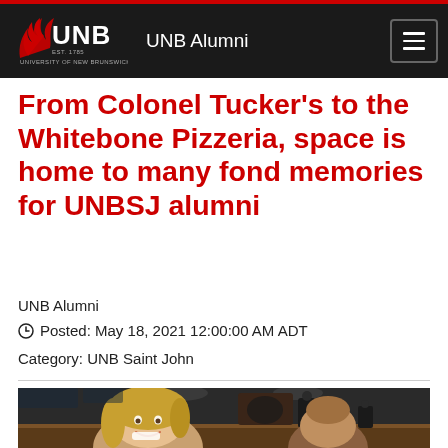UNB Alumni
From Colonel Tucker's to the Whitebone Pizzeria, space is home to many fond memories for UNBSJ alumni
UNB Alumni
Posted: May 18, 2021 12:00:00 AM ADT
Category: UNB Saint John
[Figure (photo): Interior of a restaurant/pizzeria with people seated at wooden tables; a smiling woman with blonde hair in the foreground, other patrons and staff in background near a brick pizza oven]